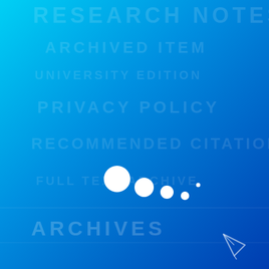[Figure (illustration): Blue gradient background cover page with watermark text repeating 'RESEARCH NOTES', 'ARCHIVES', 'UNIVERSITY EDITION', 'RECOMMENDED CITATIONS' faintly in white, five white circles of decreasing size arranged diagonally in the center-lower area, an 'ARCHIVES' text in lower left, and a triangular paper plane logo in the lower right corner.]